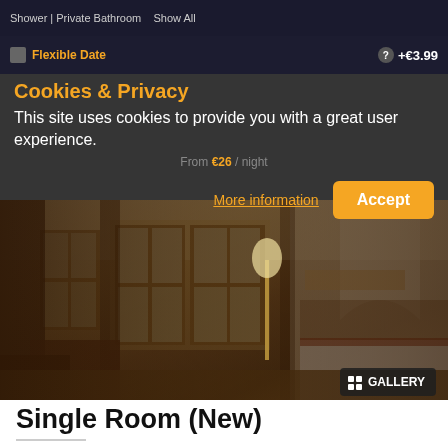Shower | Private Bathroom  Show All
Flexible Date   +€3.99
Cookies & Privacy
This site uses cookies to provide you with a great user experience.
From €26 / night
More information
Accept
[Figure (photo): Hotel room interior showing a luxurious single room with warm tones, wooden furniture, curtains, and a bed. A GALLERY badge appears in the bottom right corner.]
Single Room (New)
CAPACITY: 1